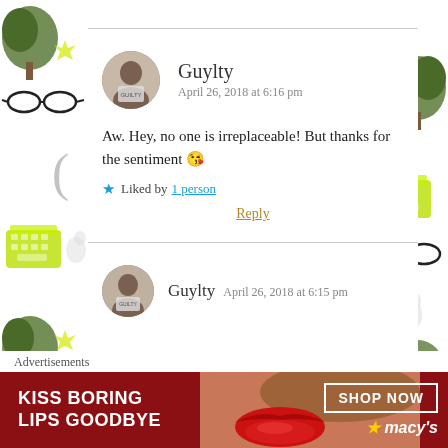[Figure (illustration): Decorative background illustrations on left and right sides: trees, glasses, typewriters, squirrels, pens, brackets]
Guylty
April 26, 2018 at 6:16 pm

Aw. Hey, no one is irreplaceable! But thanks for the sentiment 😘

★ Liked by 1 person

Reply
Guylty  April 26, 2018 at 6:15 pm
Advertisements
[Figure (photo): Macy's advertisement banner: KISS BORING LIPS GOODBYE with red lips photo and SHOP NOW button]